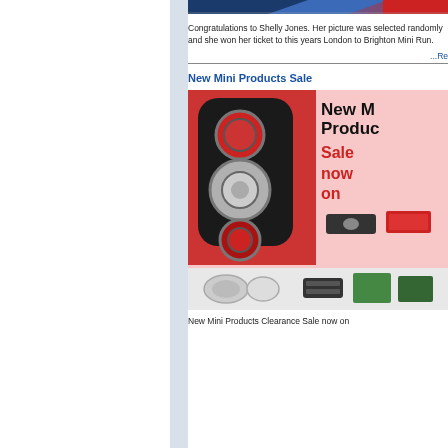[Figure (photo): Top strip showing a MINI car at a rally event, partially cropped]
Congratulations to Shelly Jones. Her picture was selected randomly and she won her ticket to this years London to Brighton Mini Run.
...Re
New Mini Products Sale
[Figure (photo): Advertisement image showing a red MINI car taillight on pink background with text 'New Mini Products Sale now on' and accessories including a grille, caps, and brake pads]
New Mini Products Clearance Sale now on